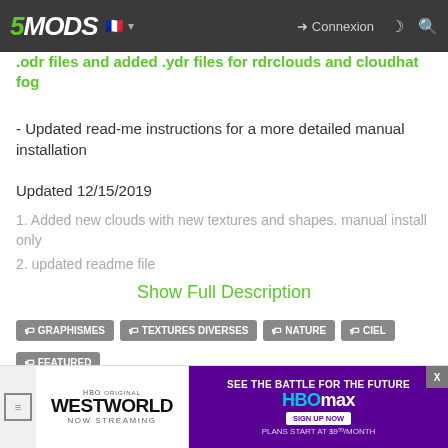5MODS — Connexion
.odr files and added .ydr files for rdrclouds and cloudhat fog
- Updated read-me instructions for a more detailed manual installation
Updated 12/15/2019
1. Added new clouds with new textures and shapes. manual install only
2. updated readme file
Show Full Description
GRAPHISMES
TEXTURES DIVERSES
NATURE
CIEL
FEATURED
Première mise en ligne : 13 mai 2018
Dernière mise à jour : 16 décembre 2019
Téléchargé pour la dernière fois : il y a 2 minutes
[Figure (screenshot): HBO Original Westworld Now Streaming advertisement banner]